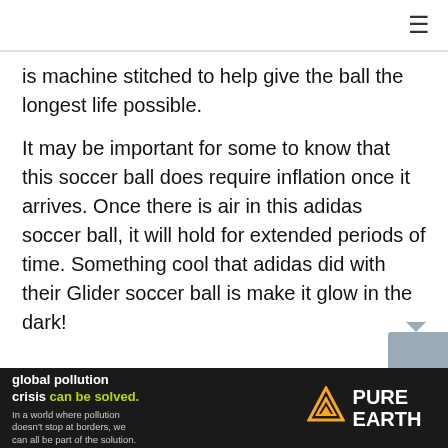≡
is machine stitched to help give the ball the longest life possible.
It may be important for some to know that this soccer ball does require inflation once it arrives. Once there is air in this adidas soccer ball, it will hold for extended periods of time. Something cool that adidas did with their Glider soccer ball is make it glow in the dark!
[Figure (infographic): Advertisement banner for Pure Earth. Left side on dark background reads: 'We believe the global pollution crisis can be solved.' with subtext 'In a world where pollution doesn't stop at borders, we can all be part of the solution. JOIN US.' Right side shows the Pure Earth logo with a yellow/orange diamond-triangle icon and white bold text 'PURE EARTH'.]